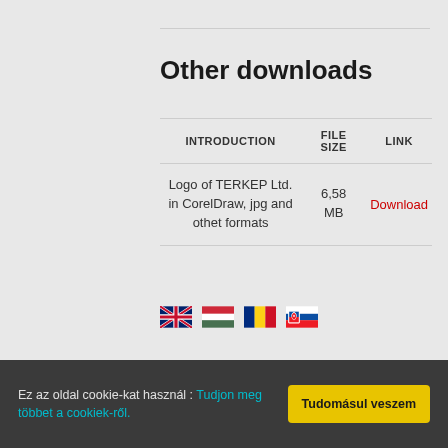Other downloads
| INTRODUCTION | FILE SIZE | LINK |
| --- | --- | --- |
| Logo of TERKEP Ltd. in CorelDraw, jpg and othet formats | 6,58 MB | Download |
[Figure (illustration): Four country flag icons in a row: UK, Hungary, Romania, Slovakia]
Ez az oldal cookie-kat használ : Tudjon meg többet a cookiek-ről.
Tudomásul veszem